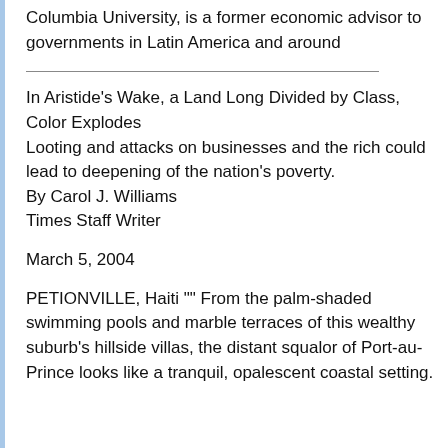Columbia University, is a former economic advisor to governments in Latin America and around
In Aristide's Wake, a Land Long Divided by Class, Color Explodes
Looting and attacks on businesses and the rich could lead to deepening of the nation's poverty.
By Carol J. Williams
Times Staff Writer
March 5, 2004
PETIONVILLE, Haiti "" From the palm-shaded swimming pools and marble terraces of this wealthy suburb's hillside villas, the distant squalor of Port-au-Prince looks like a tranquil, opalescent coastal setting.